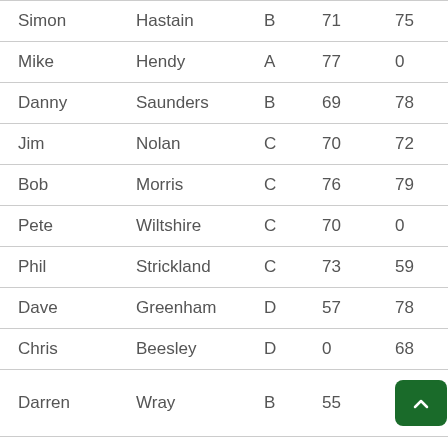| First | Last | Group | Col4 | Col5 | Col6 |
| --- | --- | --- | --- | --- | --- |
| Simon | Hastain | B | 71 | 75 | 78 |
| Mike | Hendy | A | 77 | 0 | 79 |
| Danny | Saunders | B | 69 | 78 | 66 |
| Jim | Nolan | C | 70 | 72 | 68 |
| Bob | Morris | C | 76 | 79 | 73 |
| Pete | Wiltshire | C | 70 | 0 | 73 |
| Phil | Strickland | C | 73 | 59 | 55 |
| Dave | Greenham | D | 57 | 78 | 75 |
| Chris | Beesley | D | 0 | 68 | 69 |
| Darren | Wray | B | 55 | [button] | 74 |
| Paul | Dempsey | B | 78 | [button] | 77 |